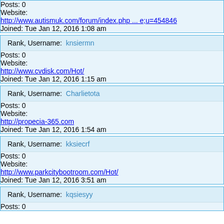Posts: 0
Website: http://www.autismuk.com/forum/index.php ... e;u=454846
Joined: Tue Jan 12, 2016 1:08 am
Rank, Username: knsiermn
Posts: 0
Website: http://www.cvdisk.com/Hot/
Joined: Tue Jan 12, 2016 1:15 am
Rank, Username: Charlietota
Posts: 0
Website: http://propecia-365.com
Joined: Tue Jan 12, 2016 1:54 am
Rank, Username: kksiecrf
Posts: 0
Website: http://www.parkcitybootroom.com/Hot/
Joined: Tue Jan 12, 2016 3:51 am
Rank, Username: kqsiesyy
Posts: 0